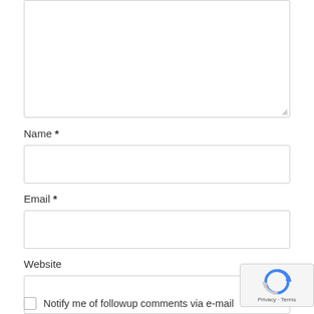[Figure (screenshot): A textarea input field (comment box) with a resize handle at bottom right, partially cropped at top]
Name *
[Figure (screenshot): Name input field, empty, rectangular with light border]
Email *
[Figure (screenshot): Email input field, empty, rectangular with light border]
Website
[Figure (screenshot): Website input field, empty, rectangular with light border, overlapped by reCAPTCHA badge]
[Figure (logo): Google reCAPTCHA badge with spinning arrows icon and Privacy - Terms text]
Notify me of followup comments via e-mail